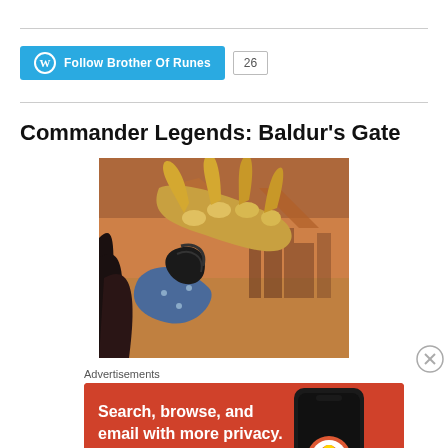[Figure (screenshot): WordPress Follow Brother Of Runes button with follower count of 26]
Commander Legends: Baldur’s Gate
[Figure (illustration): Fantasy game art showing a character with clawed golden gauntlet gripping something, dark hair visible, cityscape in background]
Advertisements
[Figure (screenshot): DuckDuckGo advertisement banner: Search, browse, and email with more privacy. All in One Free App. Shows DuckDuckGo logo on a phone mockup.]